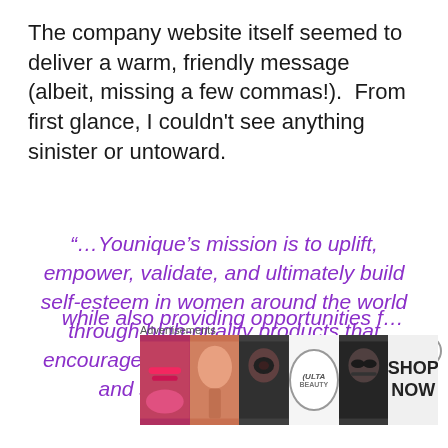The company website itself seemed to deliver a warm, friendly message (albeit, missing a few commas!).  From first glance, I couldn't see anything sinister or untoward.
“…Younique’s mission is to uplift, empower, validate, and ultimately build self-esteem in women around the world through high-quality products that encourage both inner and outer beauty and spiritual enlightenment
Advertisements
[Figure (other): Ulta Beauty advertisement banner showing beauty product images and 'SHOP NOW' text]